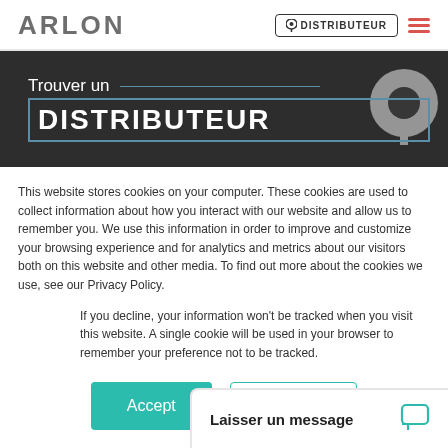ARLON | DISTRIBUTEUR
[Figure (screenshot): Dark banner with 'Trouver un DISTRIBUTEUR' heading and a map pin icon on the right]
This website stores cookies on your computer. These cookies are used to collect information about how you interact with our website and allow us to remember you. We use this information in order to improve and customize your browsing experience and for analytics and metrics about our visitors both on this website and other media. To find out more about the cookies we use, see our Privacy Policy.
If you decline, your information won't be tracked when you visit this website. A single cookie will be used in your browser to remember your preference not to be tracked.
Accept | Decline
Laisser un message